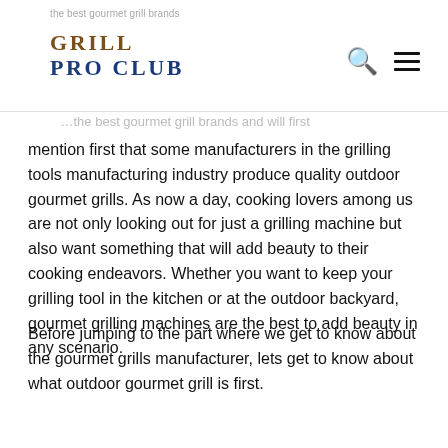GRILL PRO CLUB
mention first that some manufacturers in the grilling tools manufacturing industry produce quality outdoor gourmet grills. As now a day, cooking lovers among us are not only looking out for just a grilling machine but also want something that will add beauty to their cooking endeavors. Whether you want to keep your grilling tool in the kitchen or at the outdoor backyard, gourmet grilling machines are the best to add beauty in any scenario.
Before jumping to the part where we get to know about the gourmet grills manufacturer, lets get to know about what outdoor gourmet grill is first.